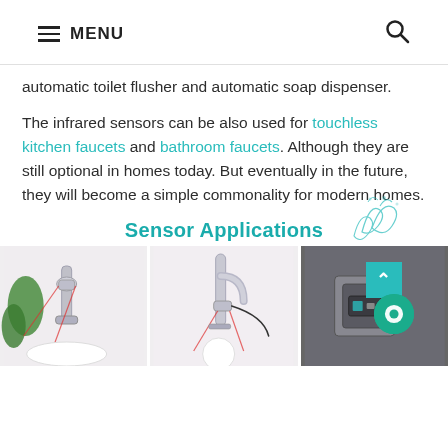MENU
automatic toilet flusher and automatic soap dispenser.
The infrared sensors can be also used for touchless kitchen faucets and bathroom faucets. Although they are still optional in homes today. But eventually in the future, they will become a simple commonality for modern homes.
Sensor Applications
[Figure (photo): Three photos of sensor faucet applications: a kitchen faucet with infrared sensor attachment, a touchless bathroom faucet with sensor, and a wall-mounted sensor device.]